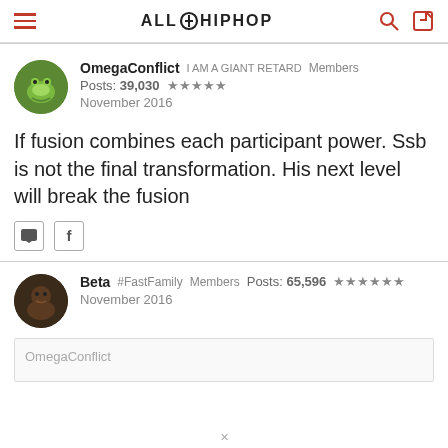ALLHIPHOP
OmegaConflict   I AM A GIANT RETARD   Members
Posts: 39,030  ★★★★★
November 2016
If fusion combines each participant power. Ssb is not the final transformation. His next level will break the fusion
Beta  #FastFamily  Members  Posts: 65,596  ★★★★★★
November 2016